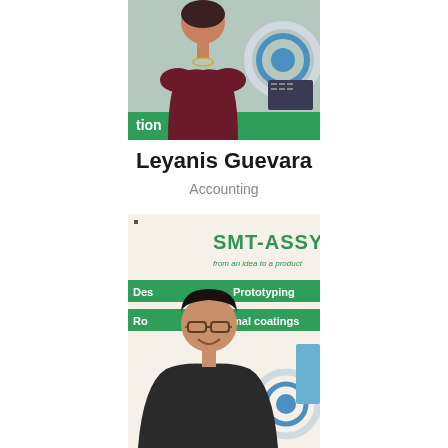[Figure (photo): Portrait photo of Leyanis Guevara, a woman in a dark maroon top, smiling, standing in front of a green SMT-ASSY branded backdrop with circular display elements]
Leyanis Guevara
Accounting
[Figure (photo): Portrait photo of a man wearing glasses and a dark polo shirt, smiling, standing in front of an SMT-ASSY banner that reads 'from an idea to a product' with text 'Des...', 'Prototyping', 'Ro...', 'Conformal coatings']